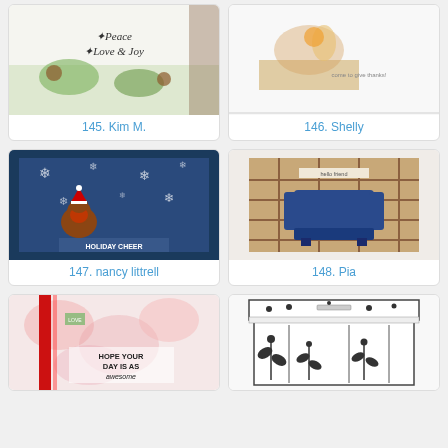[Figure (photo): Card with 'Peace Love & Joy' handwritten sentiment, pine branch and pinecone watercolor background]
145. Kim M.
[Figure (photo): Card with illustrated fox or animal character in autumn setting with hay bales]
146. Shelly
[Figure (photo): Dark blue card with robin bird wearing Santa hat, snowflakes, and 'Holiday Cheer' sentiment]
147. nancy littrell
[Figure (photo): Card with 3D blue armchair on plaid background with 'hello friend' sentiment]
148. Pia
[Figure (photo): Card with pink swirl background, red ribbon, and 'Hope your day is as awesome' sentiment]
[Figure (photo): Black and white decorative box with floral/botanical pattern and lace trim]